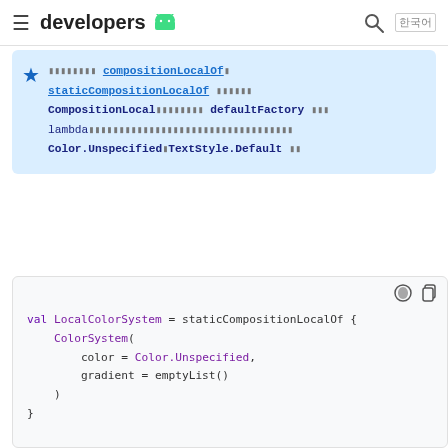developers
compositionLocalOf staticCompositionLocalOf CompositionLocal defaultFactory lambda Color.Unspecified TextStyle.Default
[Figure (screenshot): Code block showing val LocalColorSystem = staticCompositionLocalOf { ColorSystem( color = Color.Unspecified, gradient = emptyList() ) } val LocalTypographySystem = staticCompositionLocalOf { TypographySystem( fontFamily = FontFamily.Default, textStyle = TextStyle.Default]